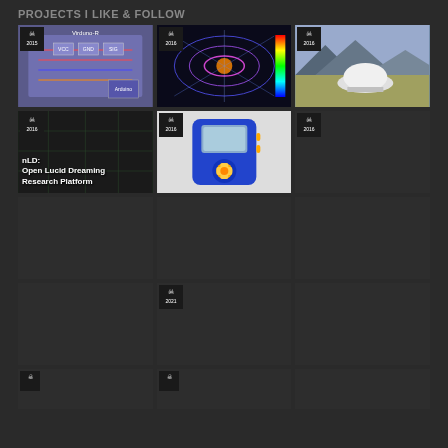PROJECTS I LIKE & FOLLOW
[Figure (screenshot): Grid of project thumbnails from a maker/hacker platform with badge icons showing years (2015, 2016, 2021). Row 1: electronics schematic (Virduno-R, 2015), electromagnetic simulation colorful (2016), outdoor dome sensor (2016). Row 2: nLD Open Lucid Dreaming Research Platform (2016), blue/orange handheld device (2016), dark placeholder (2016). Row 3-5: various dark placeholder cells with one badge (2021).]